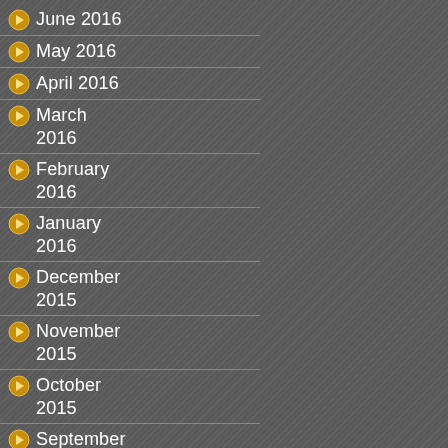June 2016
May 2016
April 2016
March 2016
February 2016
January 2016
December 2015
November 2015
October 2015
September 2015
August 2015
December 2010
November 2010
October 2010